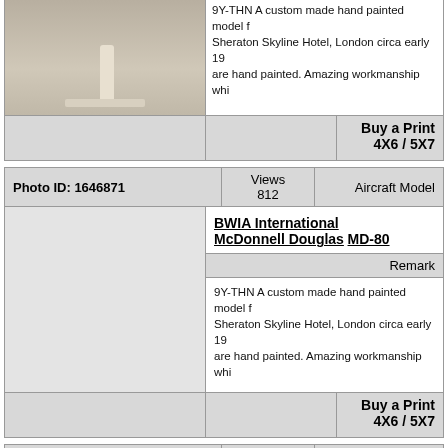[Figure (photo): Partial photo of aircraft model, cut off at top]
9Y-THN A custom made hand painted model from the Sheraton Skyline Hotel, London circa early 19... are hand painted. Amazing workmanship whi...
Buy a Print
4X6 / 5X7
| Photo ID: 1646871 | Views 812 | Aircraft Model |
| --- | --- | --- |
BWIA International
McDonnell Douglas MD-80
Remark
9Y-THN A custom made hand painted model from the Sheraton Skyline Hotel, London circa early 19... are hand painted. Amazing workmanship whi...
Buy a Print
4X6 / 5X7
| Photo ID: 2002056 | Views 693 | Aircraft Model |
| --- | --- | --- |
BWIA International
McDonnell Douglas MD-80
Remark